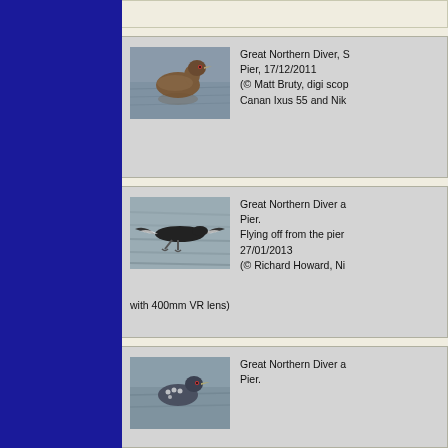[Figure (photo): Photo of a Great Northern Diver swimming on water surface]
Great Northern Diver, S Pier, 17/12/2011 (© Matt Bruty, digi scop Canan Ixus 55 and Nik
[Figure (photo): Photo of a Great Northern Diver flying, seen from below]
Great Northern Diver a Pier. Flying off from the pier 27/01/2013 (© Richard Howard, Ni with 400mm VR lens)
[Figure (photo): Photo of a Great Northern Diver at the pier]
Great Northern Diver a Pier.